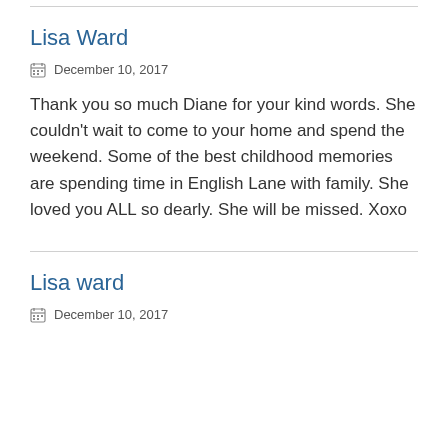Lisa Ward
December 10, 2017
Thank you so much Diane for your kind words. She couldn't wait to come to your home and spend the weekend. Some of the best childhood memories are spending time in English Lane with family. She loved you ALL so dearly. She will be missed. Xoxo
Lisa ward
December 10, 2017